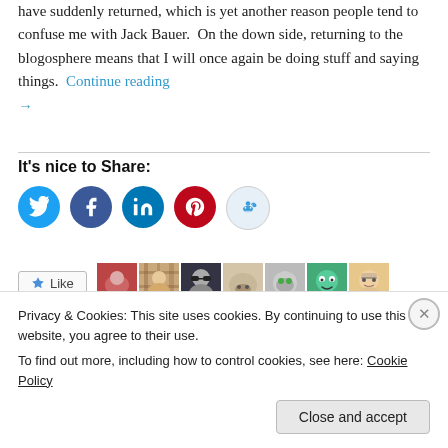have suddenly returned, which is yet another reason people tend to confuse me with Jack Bauer. On the down side, returning to the blogosphere means that I will once again be doing stuff and saying things. Continue reading →
It's nice to Share:
[Figure (infographic): Social share buttons: Twitter (blue), Facebook (dark blue), LinkedIn (blue), Pinterest (red), Reddit (light blue/grey)]
[Figure (infographic): Like button followed by a strip of 7 user avatar thumbnails]
Privacy & Cookies: This site uses cookies. By continuing to use this website, you agree to their use.
To find out more, including how to control cookies, see here: Cookie Policy
Close and accept